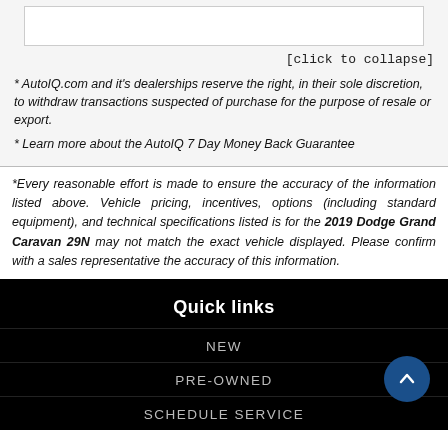[click to collapse]
* AutoIQ.com and it's dealerships reserve the right, in their sole discretion, to withdraw transactions suspected of purchase for the purpose of resale or export.
* Learn more about the AutoIQ 7 Day Money Back Guarantee
*Every reasonable effort is made to ensure the accuracy of the information listed above. Vehicle pricing, incentives, options (including standard equipment), and technical specifications listed is for the 2019 Dodge Grand Caravan 29N may not match the exact vehicle displayed. Please confirm with a sales representative the accuracy of this information.
Quick links
NEW
PRE-OWNED
SCHEDULE SERVICE